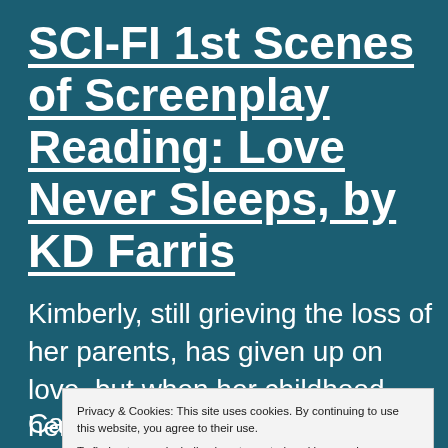SCI-FI 1st Scenes of Screenplay Reading: Love Never Sleeps, by KD Farris
Kimberly, still grieving the loss of her parents, has given up on love, but when her childhood hero comes to life in the form of the man of her dreams, it... Candace (F):... Continue reading
Privacy & Cookies: This site uses cookies. By continuing to use this website, you agree to their use. To find out more, including how to control cookies, see here: Cookie Policy